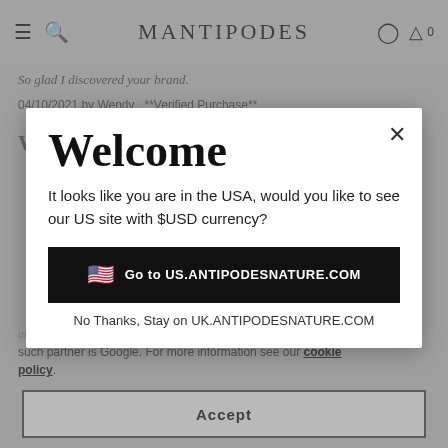Antipodes
So glad I discovered your brand.
04/10/2021 by Wendy  **Verified Purchase**
Welcome
It looks like you are in the USA, would you like to see our US site with $USD currency?
🇺🇸  Go to US.ANTIPODESNATURE.COM
No Thanks, Stay on UK.ANTIPODESNATURE.COM
such partner is Google. For more information see our cookie policy.
an excellent product, in fact the only cleanser I
Accept